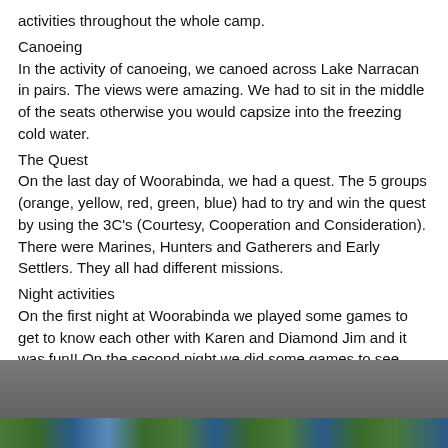activities throughout the whole camp.
Canoeing
In the activity of canoeing, we canoed across Lake Narracan in pairs. The views were amazing. We had to sit in the middle of the seats otherwise you would capsize into the freezing cold water.
The Quest
On the last day of Woorabinda, we had a quest. The 5 groups (orange, yellow, red, green, blue) had to try and win the quest by using the 3C's (Courtesy, Cooperation and Consideration). There were Marines, Hunters and Gatherers and Early Settlers. They all had different missions.
Night activities
On the first night at Woorabinda we played some games to get to know each other with Karen and Diamond Jim and it was fun!! On the second night we did some games to see which colour team won. It was very competitive. On the third night we did a comedy act with our colour groups.
[Figure (photo): Strip of outdoor/nature photos at the bottom of the page, showing trees and sky.]